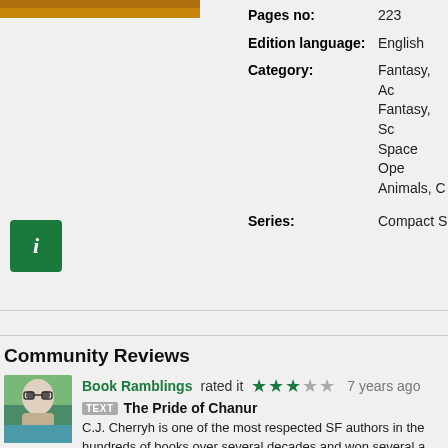[Figure (photo): Book cover image, partially visible at top left]
Pages no: 223
Edition language: English
Category: Fantasy, Ac... Fantasy, Sc... Space Ope... Animals, C...
Series: Compact S...
[Figure (logo): Green square info icon with white italic i]
Community Reviews
[Figure (photo): Reviewer avatar image for Book Ramblings]
Book Ramblings rated it ★★★☆☆ 7 years ago
TEXT The Pride of Chanur
C.J. Cherryh is one of the most respected SF authors in the... hundreds of books over several decades and won several a...